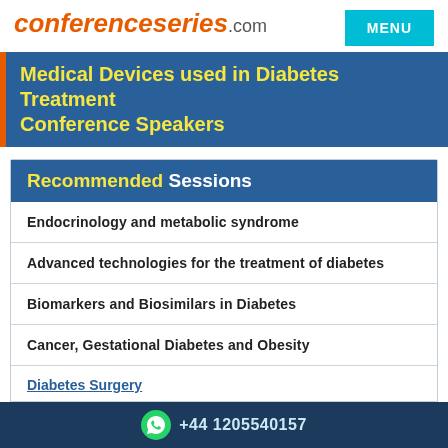conferenceseries.com
Medical Devices used in Diabetes Treatment Conference Speakers
Recommended Sessions
Endocrinology and metabolic syndrome
Advanced technologies for the treatment of diabetes
Biomarkers and Biosimilars in Diabetes
Cancer, Gestational Diabetes and Obesity
Diabetes medication
Diabetes Mellitus
+44 1205540157
Diabetes Surgery